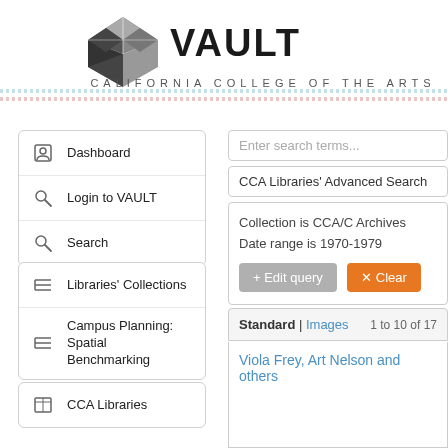[Figure (logo): VAULT - California College of the Arts logo with geometric cube icon]
Dashboard
Login to VAULT
Search
Libraries' Collections
Campus Planning: Spatial Benchmarking
CCA Libraries
Enter search terms...
CCA Libraries' Advanced Search
Collection is CCA/C Archives
Date range is 1970-1979
Standard | Images   1 to 10 of 17
Viola Frey, Art Nelson and others